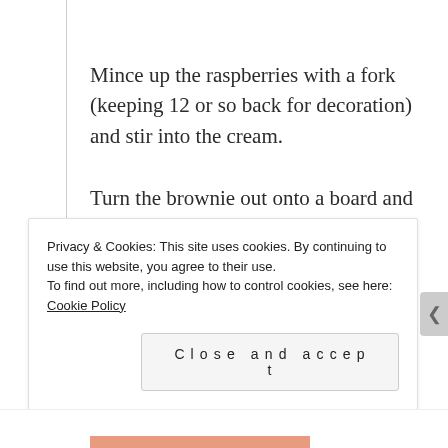Mince up the raspberries with a fork (keeping 12 or so back for decoration) and stir into the cream.
Turn the brownie out onto a board and turn the right way up.
Spread the topping evenly over the brownie, cut into portions and decorate with more raspberries.
Adapted from the Humming Bird Bakery
Privacy & Cookies: This site uses cookies. By continuing to use this website, you agree to their use.
To find out more, including how to control cookies, see here: Cookie Policy
Close and accept